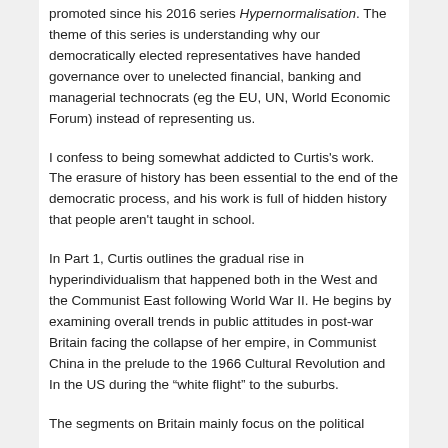promoted since his 2016 series Hypernormalisation. The theme of this series is understanding why our democratically elected representatives have handed governance over to unelected financial, banking and managerial technocrats (eg the EU, UN, World Economic Forum) instead of representing us.
I confess to being somewhat addicted to Curtis’s work. The erasure of history has been essential to the end of the democratic process, and his work is full of hidden history that people aren’t taught in school.
In Part 1, Curtis outlines the gradual rise in hyperindividualism that happened both in the West and the Communist East following World War II. He begins by examining overall trends in public attitudes in post-war Britain facing the collapse of her empire, in Communist China in the prelude to the 1966 Cultural Revolution and In the US during the “white flight” to the suburbs.
The segments on Britain mainly focus on the political